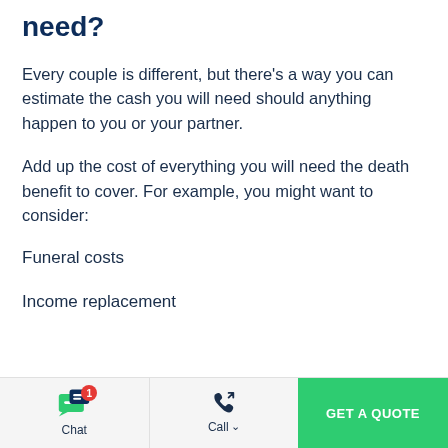need?
Every couple is different, but there's a way you can estimate the cash you will need should anything happen to you or your partner.
Add up the cost of everything you will need the death benefit to cover. For example, you might want to consider:
Funeral costs
Income replacement
Chat | Call | GET A QUOTE